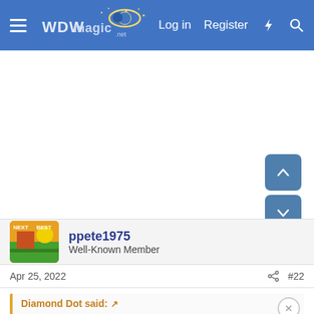WDWMagic — Log in  Register
[Figure (screenshot): White blank content area with navigation scroll buttons (up and down arrows) on the right side]
ppete1975
Well-Known Member
Apr 25, 2022  #22
Diamond Dot said: ↗